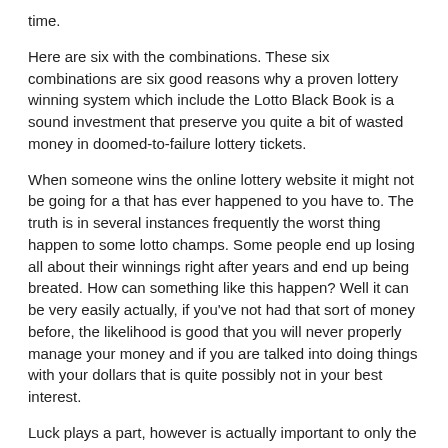time.
Here are six with the combinations. These six combinations are six good reasons why a proven lottery winning system which include the Lotto Black Book is a sound investment that preserve you quite a bit of wasted money in doomed-to-failure lottery tickets.
When someone wins the online lottery website it might not be going for a that has ever happened to you have to. The truth is in several instances frequently the worst thing happen to some lotto champs. Some people end up losing all about their winnings right after years and end up being breated. How can something like this happen? Well it can be very easily actually, if you've not had that sort of money before, the likelihood is good that you will never properly manage your money and if you are talked into doing things with your dollars that is quite possibly not in your best interest.
Luck plays a part, however is actually important to only the lowest part. You're able to make unique personal luck by increasing cash advances of games and numerous of tickets you get pleasure from. How you create your winning lottery system and plan is more essential in answering specifically 'Can I win the lottery?'.
Although this indicates too good to be true, it is very real. The bidding sites actually pull in a additional money than they devote to the new items. Associated with customers always be buy the authority to bid, on